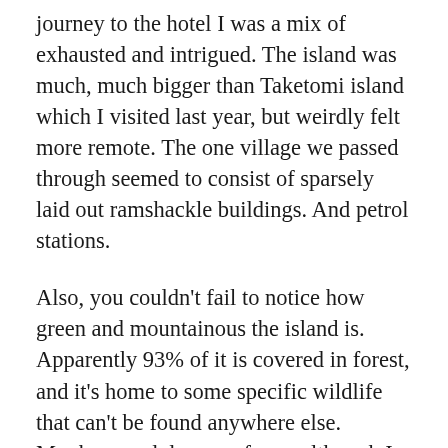journey to the hotel I was a mix of exhausted and intrigued. The island was much, much bigger than Taketomi island which I visited last year, but weirdly felt more remote. The one village we passed through seemed to consist of sparsely laid out ramshackle buildings. And petrol stations.
Also, you couldn't fail to notice how green and mountainous the island is. Apparently 93% of it is covered in forest, and it's home to some specific wildlife that can't be found anywhere else. Monkeys and deer run free – although I didn't see any on our journey.